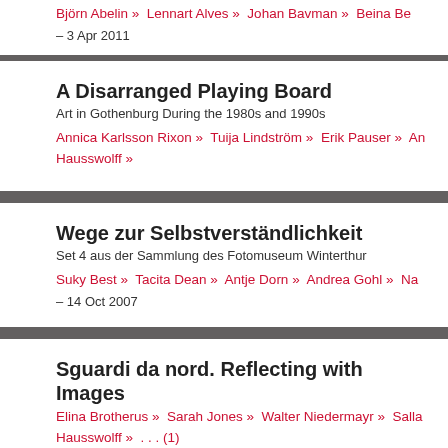Björn Abelin » Lennart Alves » Johan Bavman » Beina Be... – 3 Apr 2011
A Disarranged Playing Board
Art in Gothenburg During the 1980s and 1990s
Annica Karlsson Rixon »  Tuija Lindström »  Erik Pauser »  An... Hausswolff »
Wege zur Selbstverständlichkeit
Set 4 aus der Sammlung des Fotomuseum Winterthur
Suky Best »  Tacita Dean »  Antje Dorn »  Andrea Gohl »  Na...
– 14 Oct 2007
Sguardi da nord. Reflecting with Images
Elina Brotherus »  Sarah Jones »  Walter Niedermayr »  Salla... Hausswolff »   . . . (1)
– 6 May 2007